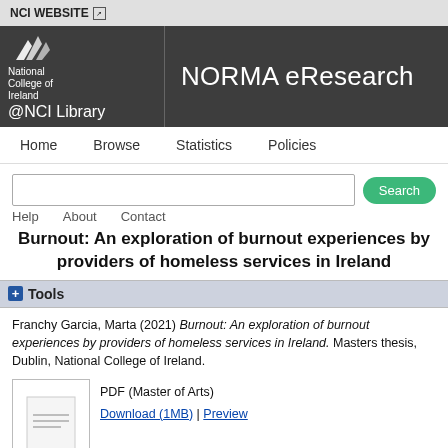NCI WEBSITE
[Figure (logo): National College of Ireland NCI logo with NORMA eResearch @NCI Library header]
Home  Browse  Statistics  Policies
Help  About  Contact
Burnout: An exploration of burnout experiences by providers of homeless services in Ireland
+ Tools
Franchy Garcia, Marta (2021) Burnout: An exploration of burnout experiences by providers of homeless services in Ireland. Masters thesis, Dublin, National College of Ireland.
PDF (Master of Arts)
Download (1MB) | Preview
Abstract